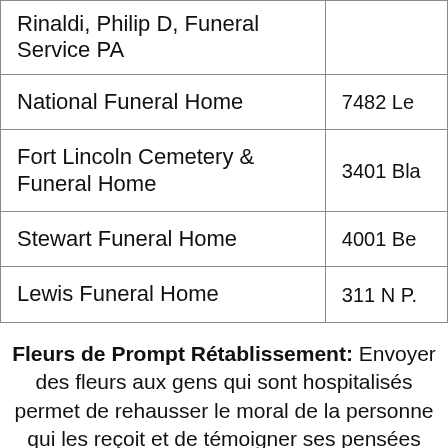| Name | Address |
| --- | --- |
| Rinaldi, Philip D, Funeral Service PA |  |
| National Funeral Home | 7482 Le... |
| Fort Lincoln Cemetery & Funeral Home | 3401 Bla... |
| Stewart Funeral Home | 4001 Be... |
| Lewis Funeral Home | 311 N P... |
Fleurs de Prompt Rétablissement: Envoyer des fleurs aux gens qui sont hospitalisés permet de rehausser le moral de la personne qui les reçoit et de témoigner ses pensées positives